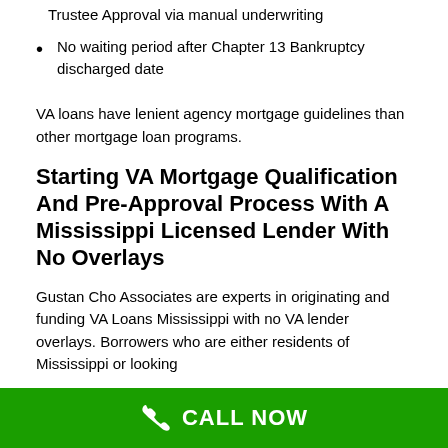Trustee Approval via manual underwriting
No waiting period after Chapter 13 Bankruptcy discharged date
VA loans have lenient agency mortgage guidelines than other mortgage loan programs.
Starting VA Mortgage Qualification And Pre-Approval Process With A Mississippi Licensed Lender With No Overlays
Gustan Cho Associates are experts in originating and funding VA Loans Mississippi with no VA lender overlays. Borrowers who are either residents of Mississippi or looking
CALL NOW